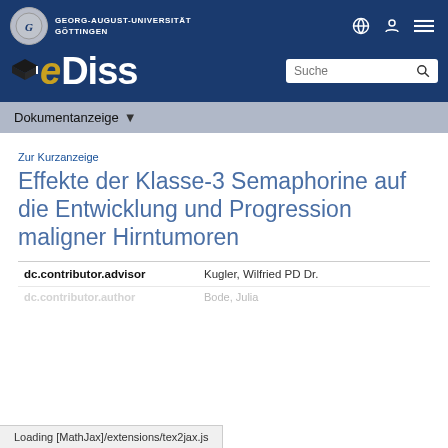[Figure (screenshot): University header with Georg-August-Universität Göttingen logo, navigation icons (globe, person, menu), eDiss logo, and search box]
Georg-August-Universität Göttingen | eDiss
Dokumentanzeige
Zur Kurzanzeige
Effekte der Klasse-3 Semaphorine auf die Entwicklung und Progression maligner Hirntumoren
|  |  |
| --- | --- |
| dc.contributor.advisor | Kugler, Wilfried PD Dr. |
| dc.contributor.author | Bode, Julia |
Loading [MathJax]/extensions/tex2jax.js